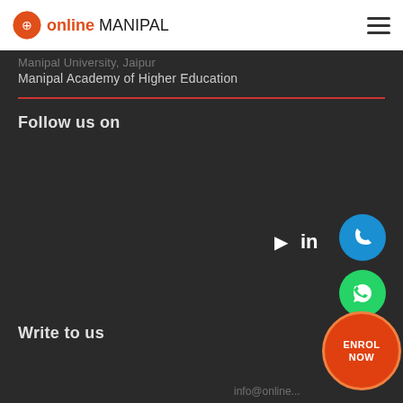online MANIPAL
Manipal University, Jaipur
Manipal Academy of Higher Education
Follow us on
[Figure (logo): Social media icons: play button and LinkedIn icon]
[Figure (illustration): Blue phone call button circle]
[Figure (illustration): Green WhatsApp button circle]
[Figure (illustration): Orange ENROL NOW button circle]
Write to us
info@online...